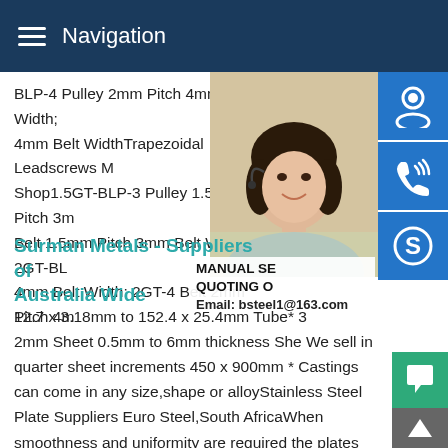Navigation
BLP-4 Pulley 2mm Pitch 4mm Belt Width; 4mm Belt WidthTrapezoidal Leadscrews M Shop1.5GT-BLP-3 Pulley 1.5mm Pitch 3m Belt 1.5mm Pitch 3mm Belt Width; 2GT-BL 4mm Belt Width; 2GT-4 Belt 2mm Pitch 4m
Surman Metals - Suppliers of Australia Wide
12.7 x 3.18mm to 152.4 x 25.4mm Tube* 3 2mm Sheet 0.5mm to 6mm thickness She We sell in quarter sheet increments 450 x 900mm * Castings can come in any size,shape or alloyStainless Steel Plate Suppliers Euro Steel,South AfricaWhen smoothness and uniformity are required the plates can be further cold rolled to a 2D finish.Standard lengths for Sheet Plate (in mm) are 2000,2500,3000 and 6000.Standard widths (in mm) are
[Figure (photo): Customer service representative woman with headset, smiling]
[Figure (infographic): Three blue icon buttons on right side: customer service icon, phone/call icon, Skype icon]
MANUAL SE QUOTING O Email: bsteel1@163.com
[Figure (infographic): Green chat bubble button and grey up/back-to-top arrow button at bottom right]